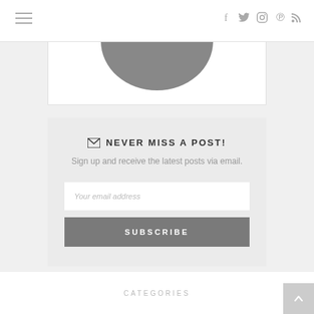Navigation bar with hamburger menu and social icons (f, twitter, instagram, pinterest, rss)
[Figure (illustration): Bottom portion of a circular profile photo showing a grey semicircle, cropped at top]
NEVER MISS A POST!
Sign up and receive the latest posts via email.
Your email address
SUBSCRIBE
CATEGORIES